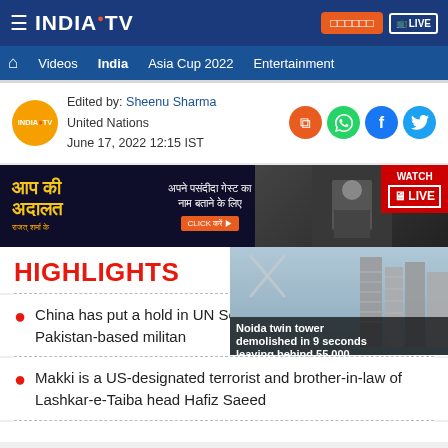INDIA TV — top navigation bar with menu, Hindi button, LIVE button
Videos | India | Asia Cup 2022 | Entertainment
Edited by: Sheenu Sharma
United Nations
June 17, 2022 12:15 IST
[Figure (screenshot): Advertisement banner: Aap Ki Adalat — Hindi text, click-here button, person in suit]
[Figure (screenshot): Video thumbnail: Noida twin tower demolished in 9 seconds leaving behind 55,000 — building image with play icon]
HIGHLIGHTS
China has put a hold in UN Security Council's move to list Pakistan-based militant
Makki is a US-designated terrorist and brother-in-law of Lashkar-e-Taiba head Hafiz Saeed